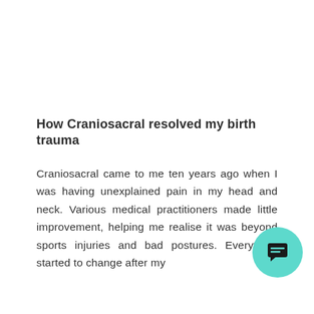How Craniosacral resolved my birth trauma
Craniosacral came to me ten years ago when I was having unexplained pain in my head and neck. Various medical practitioners made little improvement, helping me realise it was beyond sports injuries and bad postures. Everything started to change after my